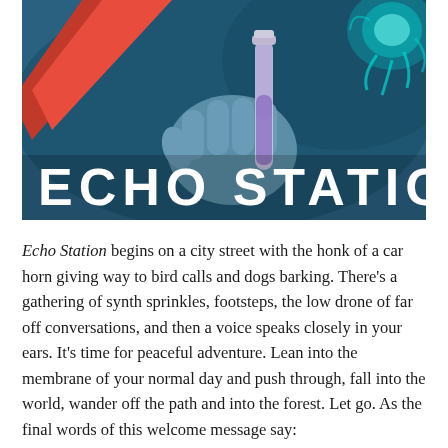[Figure (illustration): Illustrated comic-style image of a gloved hand holding a test tube with purple liquid, against a blue background. A red diagonal shape and teal glowing organism are visible. Bold white text reads ECHO STATION across the bottom of the image.]
Echo Station begins on a city street with the honk of a car horn giving way to bird calls and dogs barking. There's a gathering of synth sprinkles, footsteps, the low drone of far off conversations, and then a voice speaks closely in your ears. It's time for peaceful adventure. Lean into the membrane of your normal day and push through, fall into the world, wander off the path and into the forest. Let go. As the final words of this welcome message say: